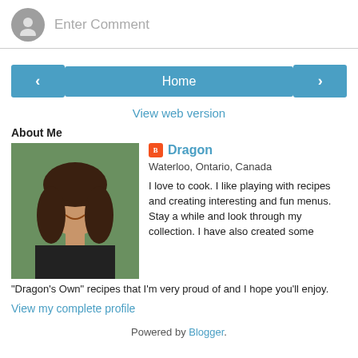[Figure (screenshot): Comment input bar with grey avatar icon and 'Enter Comment' placeholder text]
[Figure (screenshot): Navigation buttons: left chevron, Home, right chevron; and 'View web version' link]
About Me
[Figure (photo): Profile photo of a woman with dark hair smiling, beside Blogger icon, name Dragon, location Waterloo, Ontario, Canada, and bio text]
I love to cook. I like playing with recipes and creating interesting and fun menus. Stay a while and look through my collection. I have also created some "Dragon's Own" recipes that I'm very proud of and I hope you'll enjoy.
View my complete profile
Powered by Blogger.